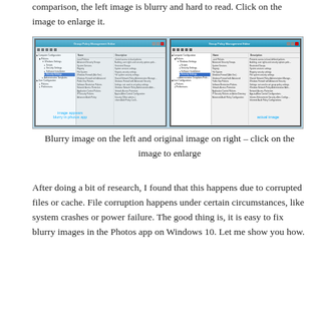comparison, the left image is blurry and hard to read. Click on the image to enlarge it.
[Figure (screenshot): Side-by-side comparison of two Group Policy Management Editor windows. Left panel shows a blurry version labeled 'image appears blurry in photos app'. Right panel shows the clear actual image labeled 'actual image'.]
Blurry image on the left and original image on right – click on the image to enlarge
After doing a bit of research, I found that this happens due to corrupted files or cache. File corruption happens under certain circumstances, like system crashes or power failure. The good thing is, it is easy to fix blurry images in the Photos app on Windows 10. Let me show you how.